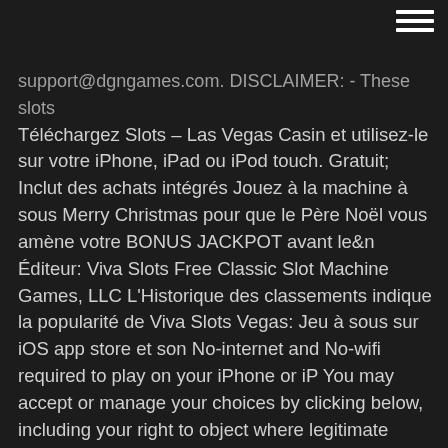[Figure (other): Hamburger menu icon (three horizontal white lines) in top-right corner]
support@dgngames.com. DISCLAIMER: - These slots Téléchargez Slots – Las Vegas Casin et utilisez-le sur votre iPhone, iPad ou iPod touch. Gratuit; Inclut des achats intégrés Jouez à la machine à sous Merry Christmas pour que le Père Noël vous amène votre BONUS JACKPOT avant le&n Éditeur: Viva Slots Free Classic Slot Machine Games, LLC L'Historique des classements indique la popularité de Viva Slots Vegas: Jeu à sous sur iOS app store et son No-internet and No-wifi required to play on your iPhone or iP You may accept or manage your choices by clicking below, including your right to object where legitimate interest is used, or at any time in the privacy policy page. 6 janv. 2021 Xtreme Slots: Vegas Casino Téléchargez et installez pour votre ordinateur or an opportunity to win real money or